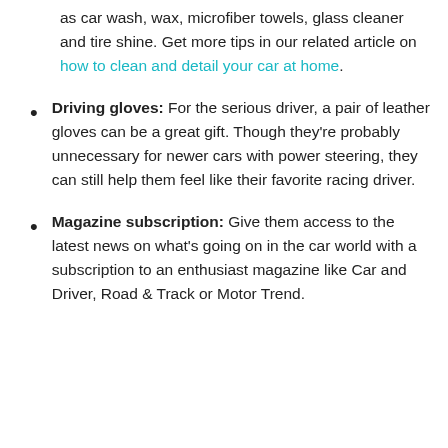as car wash, wax, microfiber towels, glass cleaner and tire shine. Get more tips in our related article on how to clean and detail your car at home.
Driving gloves: For the serious driver, a pair of leather gloves can be a great gift. Though they're probably unnecessary for newer cars with power steering, they can still help them feel like their favorite racing driver.
Magazine subscription: Give them access to the latest news on what's going on in the car world with a subscription to an enthusiast magazine like Car and Driver, Road & Track or Motor Trend.